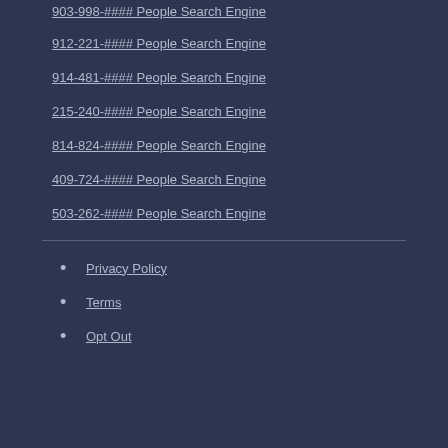903-998-#### People Search Engine
912-221-#### People Search Engine
914-481-#### People Search Engine
215-240-#### People Search Engine
814-824-#### People Search Engine
409-724-#### People Search Engine
503-262-#### People Search Engine
Privacy Policy
Terms
Opt Out